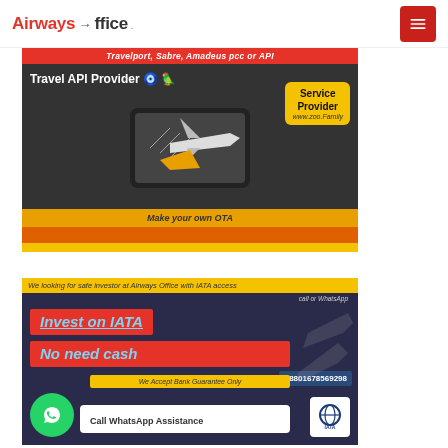Airways Office
[Figure (infographic): Travel API Provider advertisement banner with plane on phone, Service Provider www.zoo.Family, Make your own OTA. Travelport, Sabre, Amadeus pcc or API]
[Figure (infographic): Invest on IATA No need cash advertisement. We looking for safe investor at Airways Office with IATA access. +8801678569298. We Accept Bank Guarantee Only. Call WhatsApp Assistance.]